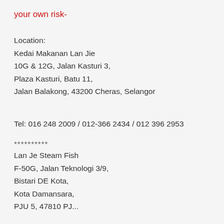your own risk-
Location:
Kedai Makanan Lan Jie
10G & 12G, Jalan Kasturi 3,
Plaza Kasturi, Batu 11,
Jalan Balakong, 43200 Cheras, Selangor
Tel: 016 248 2009 / 012-366 2434 / 012 396 2953
**********
Lan Je Steam Fish
F-50G, Jalan Teknologi 3/9,
Bistari DE Kota,
Kota Damansara,
PJU 5, 47810 PJ...